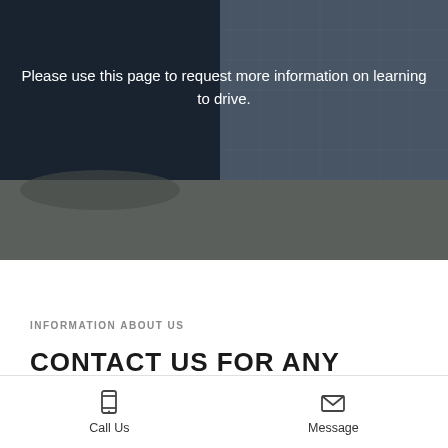[Figure (photo): Blurred background photo of a car interior dashboard and seat, dark blue and grey tones]
Please use this page to request more information on learning to drive.
INFORMATION ABOUT US
CONTACT US FOR ANY QUESTIONS
Call Us
Message